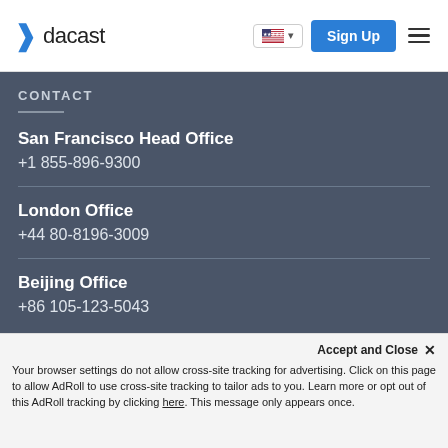dacast | Sign Up
CONTACT
San Francisco Head Office
+1 855-896-9300
London Office
+44 80-8196-3009
Beijing Office
+86 105-123-5043
Accept and Close ✕
Your browser settings do not allow cross-site tracking for advertising. Click on this page to allow AdRoll to use cross-site tracking to tailor ads to you. Learn more or opt out of this AdRoll tracking by clicking here. This message only appears once.